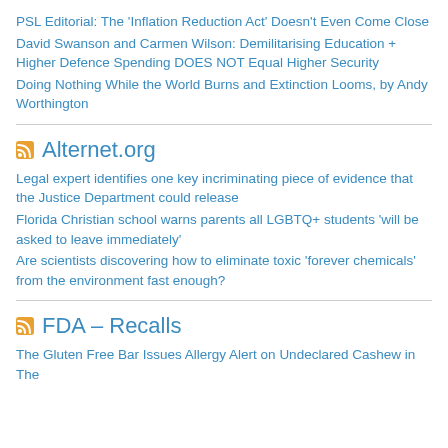PSL Editorial: The ‘Inflation Reduction Act’ Doesn’t Even Come Close
David Swanson and Carmen Wilson: Demilitarising Education + Higher Defence Spending DOES NOT Equal Higher Security
Doing Nothing While the World Burns and Extinction Looms, by Andy Worthington
Alternet.org
Legal expert identifies one key incriminating piece of evidence that the Justice Department could release
Florida Christian school warns parents all LGBTQ+ students 'will be asked to leave immediately'
Are scientists discovering how to eliminate toxic 'forever chemicals' from the environment fast enough?
FDA – Recalls
The Gluten Free Bar Issues Allergy Alert on Undeclared Cashew in The